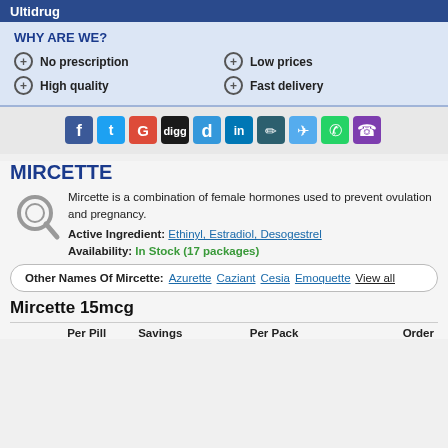Ultidrug
WHY ARE WE?
No prescription
Low prices
High quality
Fast delivery
[Figure (other): Social media sharing icons: Facebook, Twitter, Google, Digg, Delicious, LinkedIn, Feather, Twitter-bird, WhatsApp, Viber]
MIRCETTE
Mircette is a combination of female hormones used to prevent ovulation and pregnancy.
Active Ingredient: Ethinyl, Estradiol, Desogestrel
Availability: In Stock (17 packages)
Other Names Of Mircette: Azurette Caziant Cesia Emoquette View all
Mircette 15mcg
| Per Pill | Savings | Per Pack | Order |
| --- | --- | --- | --- |